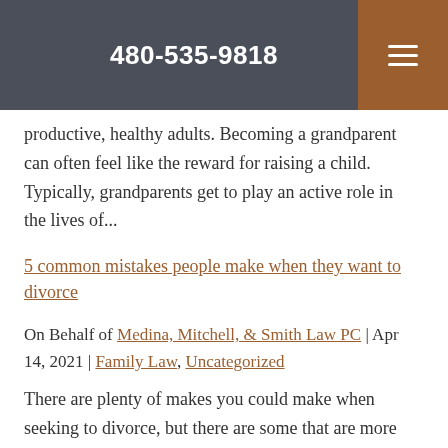480-535-9818
productive, healthy adults. Becoming a grandparent can often feel like the reward for raising a child. Typically, grandparents get to play an active role in the lives of...
5 common mistakes people make when they want to divorce
On Behalf of Medina, Mitchell, & Smith Law PC | Apr 14, 2021 | Family Law, Uncategorized
There are plenty of makes you could make when seeking to divorce, but there are some that are more serious than others. Making those mistakes could put your right to child custody at risk if you have children,